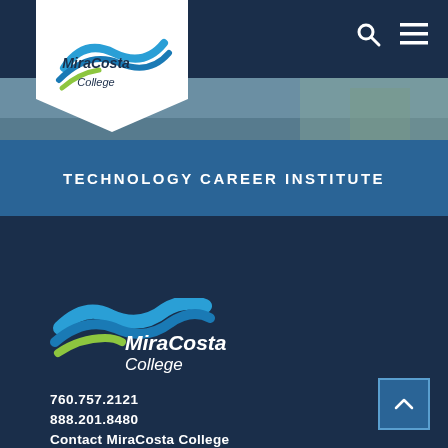[Figure (logo): MiraCosta College logo in white shield/diamond shape at top left of header navigation bar]
[Figure (photo): Partial photo strip of a building or campus scene in muted blue-gray tones]
TECHNOLOGY CAREER INSTITUTE
[Figure (logo): MiraCosta College logo large white version on dark navy background in footer area]
760.757.2121
888.201.8480
Contact MiraCosta College